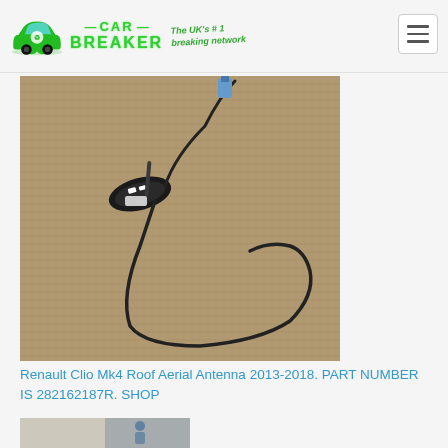CAR BREAKER — The UK's #1 breaking network
[Figure (photo): Renault Clio Mk4 roof aerial antenna with cable, photographed on a brown carpet background]
Renault Clio Mk4 Roof Aerial Antenna 2013-2018. PART NUMBER IS 282162187R. SHOP
[Figure (photo): Partial view of another car part at the bottom of the page]